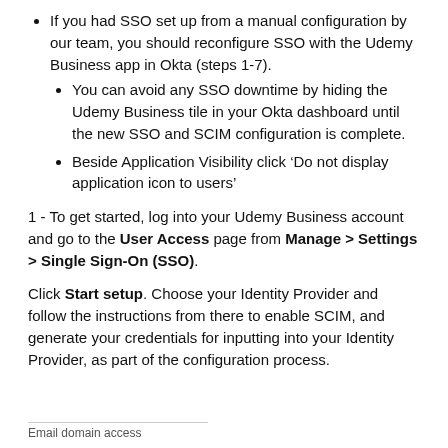If you had SSO set up from a manual configuration by our team, you should reconfigure SSO with the Udemy Business app in Okta (steps 1-7).
You can avoid any SSO downtime by hiding the Udemy Business tile in your Okta dashboard until the new SSO and SCIM configuration is complete.
Beside Application Visibility click ‘Do not display application icon to users’
1 - To get started, log into your Udemy Business account and go to the User Access page from Manage > Settings > Single Sign-On (SSO).
Click Start setup. Choose your Identity Provider and follow the instructions from there to enable SCIM, and generate your credentials for inputting into your Identity Provider, as part of the configuration process.
Email domain access